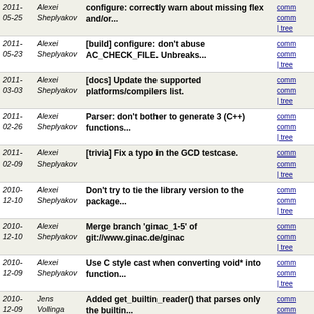| Date | Author | Message | Links |
| --- | --- | --- | --- |
| 2011-
05-25 | Alexei
Sheplyakov | configure: correctly warn about missing flex and/or... | comm
comm
| tree |
| 2011-
05-23 | Alexei
Sheplyakov | [build] configure: don't abuse AC_CHECK_FILE. Unbreaks... | comm
comm
| tree |
| 2011-
03-03 | Alexei
Sheplyakov | [docs] Update the supported platforms/compilers list. | comm
comm
| tree |
| 2011-
02-26 | Alexei
Sheplyakov | Parser: don't bother to generate 3 (C++) functions... | comm
comm
| tree |
| 2011-
02-09 | Alexei
Sheplyakov | [trivia] Fix a typo in the GCD testcase. | comm
comm
| tree |
| 2010-
12-10 | Alexei
Sheplyakov | Don't try to tie the library version to the package... | comm
comm
| tree |
| 2010-
12-10 | Alexei
Sheplyakov | Merge branch 'ginac_1-5' of git://www.ginac.de/ginac | comm
comm
| tree |
| 2010-
12-09 | Alexei
Sheplyakov | Use C style cast when converting void* into function... | comm
comm
| tree |
| 2010-
12-09 | Jens
Vollinga | Added get_builtin_reader() that parses only the builtin... | comm
comm
| tree |
| 2010-
12-09 | Jens
Vollinga | Fixed include of stdint.h (parser.cpp needs the header... | comm
comm
| tree |
| 2010-
12-09 | Alexei
Sheplyakov | Fix the compliation error *for real* ... and restore... | comm
comm
| tree |
| 2010-
12-09 | Alexei
Sheplyakov | Fix the compliation error *for real* | comm
comm
| tree |
| 2010-
12-09 | Jens
Vollinga | Fixed memory leak. | comm
comm
| tree |